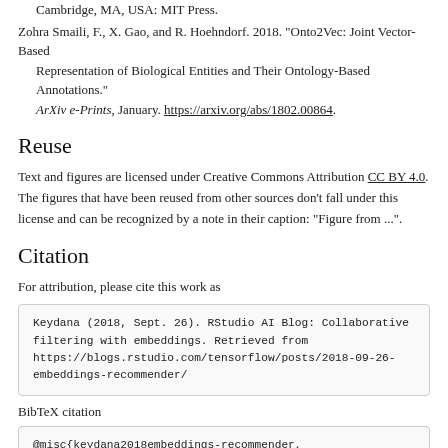Cambridge, MA, USA: MIT Press.
Zohra Smaili, F., X. Gao, and R. Hoehndorf. 2018. "Onto2Vec: Joint Vector-Based Representation of Biological Entities and Their Ontology-Based Annotations." ArXiv e-Prints, January. https://arxiv.org/abs/1802.00864.
Reuse
Text and figures are licensed under Creative Commons Attribution CC BY 4.0. The figures that have been reused from other sources don't fall under this license and can be recognized by a note in their caption: "Figure from ...".
Citation
For attribution, please cite this work as
Keydana (2018, Sept. 26). RStudio AI Blog: Collaborative filtering with embeddings. Retrieved from https://blogs.rstudio.com/tensorflow/posts/2018-09-26-embeddings-recommender/
BibTeX citation
@misc{keydana2018embeddings-recommender,
  author = {Keydana, Sigrid},
  title = {RStudio AI Blog: Collaborative filtering with embeddings},
  url = {https://blogs.rstudio.com/tensorflow/posts/2018-